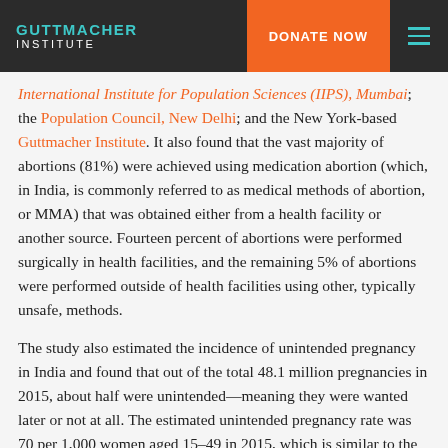GUTTMACHER INSTITUTE | DONATE NOW
International Institute for Population Sciences (IIPS), Mumbai; the Population Council, New Delhi; and the New York-based Guttmacher Institute. It also found that the vast majority of abortions (81%) were achieved using medication abortion (which, in India, is commonly referred to as medical methods of abortion, or MMA) that was obtained either from a health facility or another source. Fourteen percent of abortions were performed surgically in health facilities, and the remaining 5% of abortions were performed outside of health facilities using other, typically unsafe, methods.
The study also estimated the incidence of unintended pregnancy in India and found that out of the total 48.1 million pregnancies in 2015, about half were unintended—meaning they were wanted later or not at all. The estimated unintended pregnancy rate was 70 per 1,000 women aged 15–49 in 2015, which is similar to the rates in neighboring Bangladesh (67) and Nepal (68), and much lower than the rate in Pakistan (93).